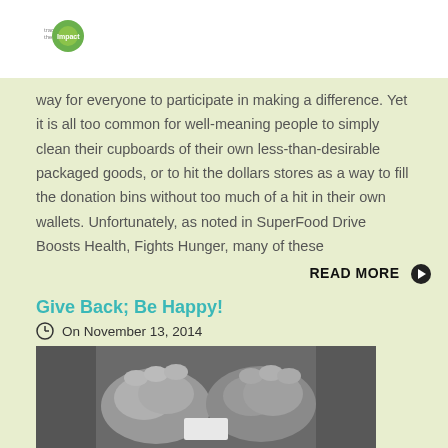Trace the Impact logo
way for everyone to participate in making a difference. Yet it is all too common for well-meaning people to simply clean their cupboards of their own less-than-desirable packaged goods, or to hit the dollars stores as a way to fill the donation bins without too much of a hit in their own wallets. Unfortunately, as noted in SuperFood Drive Boosts Health, Fights Hunger, many of these
READ MORE
Give Back; Be Happy!
On November 13, 2014
[Figure (photo): Black and white photo of two hands holding a small piece of paper]